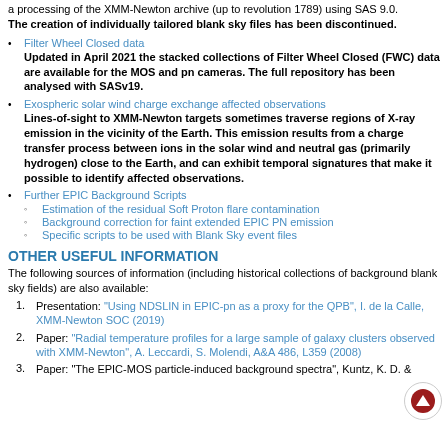a processing of the XMM-Newton archive (up to revolution 1789) using SAS 9.0.
The creation of individually tailored blank sky files has been discontinued.
Filter Wheel Closed data
Updated in April 2021 the stacked collections of Filter Wheel Closed (FWC) data are available for the MOS and pn cameras. The full repository has been analysed with SASv19.
Exospheric solar wind charge exchange affected observations
Lines-of-sight to XMM-Newton targets sometimes traverse regions of X-ray emission in the vicinity of the Earth. This emission results from a charge transfer process between ions in the solar wind and neutral gas (primarily hydrogen) close to the Earth, and can exhibit temporal signatures that make it possible to identify affected observations.
Further EPIC Background Scripts
Estimation of the residual Soft Proton flare contamination
Background correction for faint extended EPIC PN emission
Specific scripts to be used with Blank Sky event files
OTHER USEFUL INFORMATION
The following sources of information (including historical collections of background blank sky fields) are also available:
1. Presentation: "Using NDSLIN in EPIC-pn as a proxy for the QPB", I. de la Calle, XMM-Newton SOC (2019)
2. Paper: "Radial temperature profiles for a large sample of galaxy clusters observed with XMM-Newton", A. Leccardi, S. Molendi, A&A 486, L359 (2008)
3. Paper: "The EPIC-MOS particle-induced background spectra", Kuntz, K. D. &